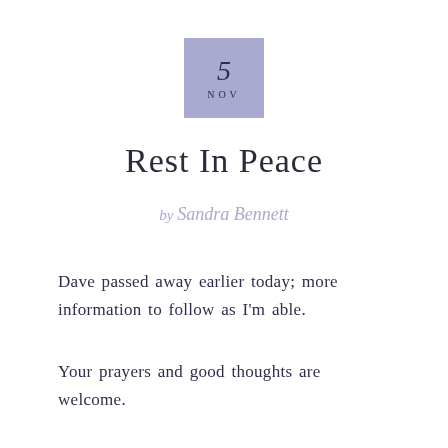[Figure (other): Lavender/periwinkle square badge with the number 5 and 'NOV' below it]
Rest In Peace
by Sandra Bennett
Dave passed away earlier today; more information to follow as I'm able.
Your prayers and good thoughts are welcome.